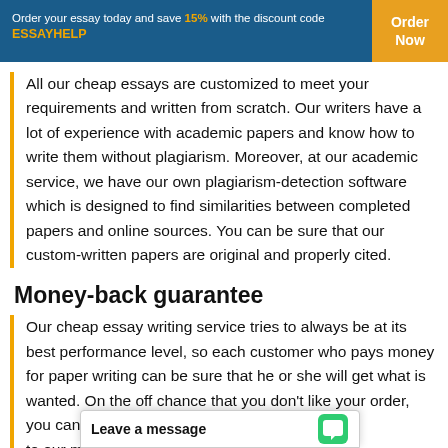Order your essay today and save 15% with the discount code ESSAYHELP
All our cheap essays are customized to meet your requirements and written from scratch. Our writers have a lot of experience with academic papers and know how to write them without plagiarism. Moreover, at our academic service, we have our own plagiarism-detection software which is designed to find similarities between completed papers and online sources. You can be sure that our custom-written papers are original and properly cited.
Money-back guarantee
Our cheap essay writing service tries to always be at its best performance level, so each customer who pays money for paper writing can be sure that he or she will get what is wanted. On the off chance that you don't like your order, you can request a refund a... to our money-back gua...